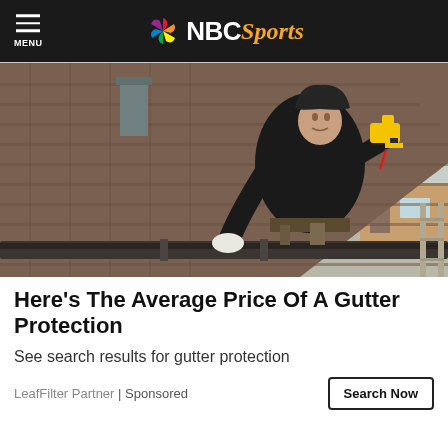NBC Sports
[Figure (photo): A worker in a black hoodie jacket and work gloves using a drill/screwgun on a residential roof, installing or repairing gutters. The roof has brown/gray shingles. Trees and a neighboring house are visible in the background.]
Here's The Average Price Of A Gutter Protection
See search results for gutter protection
LeafFilter Partner | Sponsored
Search Now